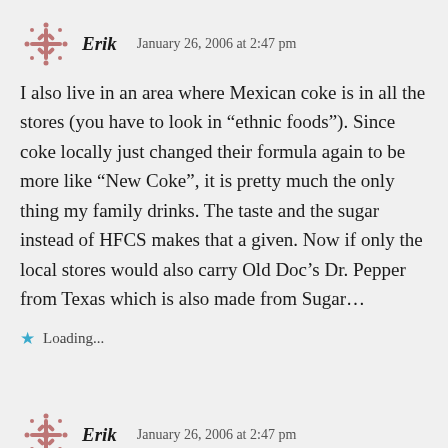Erik — January 26, 2006 at 2:47 pm
I also live in an area where Mexican coke is in all the stores (you have to look in “ethnic foods”). Since coke locally just changed their formula again to be more like “New Coke”, it is pretty much the only thing my family drinks. The taste and the sugar instead of HFCS makes that a given. Now if only the local stores would also carry Old Doc’s Dr. Pepper from Texas which is also made from Sugar…
Loading...
Erik — January 26, 2006 at 2:47 pm